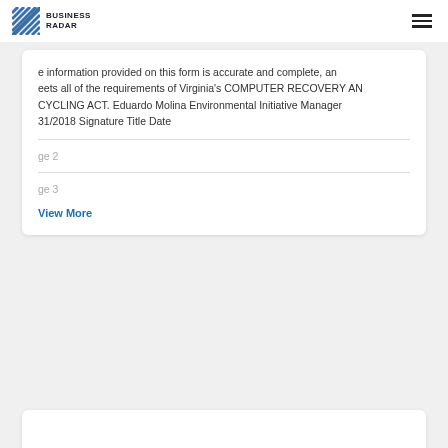BUSINESS RADAR
e information provided on this form is accurate and complete, an eets all of the requirements of Virginia's COMPUTER RECOVERY AN CYCLING ACT. Eduardo Molina Environmental Initiative Manager 31/2018 Signature Title Date
ge 2
ge 3
View More